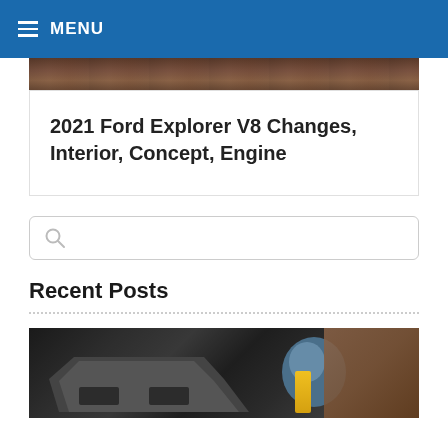MENU
[Figure (photo): Top strip of a vehicle/landscape photo, partially cropped]
2021 Ford Explorer V8 Changes, Interior, Concept, Engine
[Figure (other): Search box with magnifying glass icon]
Recent Posts
[Figure (photo): Photo of a dark car in a workshop/garage with machinery in the background]